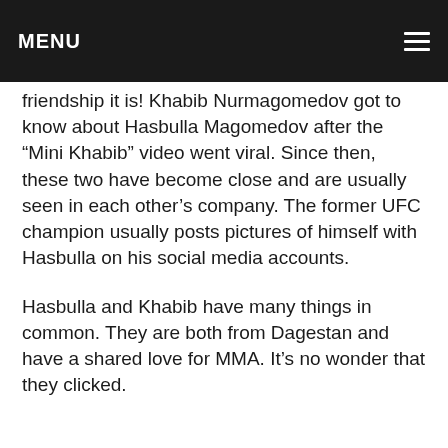MENU
friendship it is! Khabib Nurmagomedov got to know about Hasbulla Magomedov after the “Mini Khabib” video went viral. Since then, these two have become close and are usually seen in each other’s company. The former UFC champion usually posts pictures of himself with Hasbulla on his social media accounts.
Hasbulla and Khabib have many things in common. They are both from Dagestan and have a shared love for MMA. It’s no wonder that they clicked.